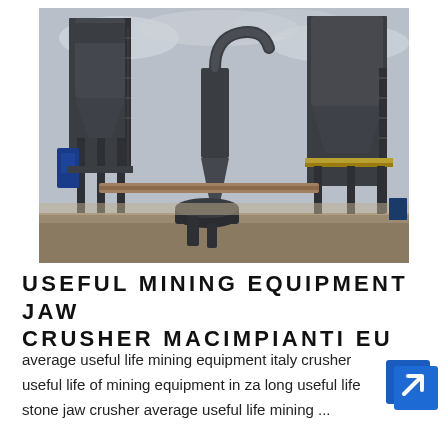[Figure (photo): Industrial mining/crushing plant with large dark metal silos, cyclone separators, and steel framework structures against an overcast sky.]
USEFUL MINING EQUIPMENT JAW CRUSHER MACIMPIANTI EU
average useful life mining equipment italy crusher useful life of mining equipment in za long useful life stone jaw crusher average useful life mining ...